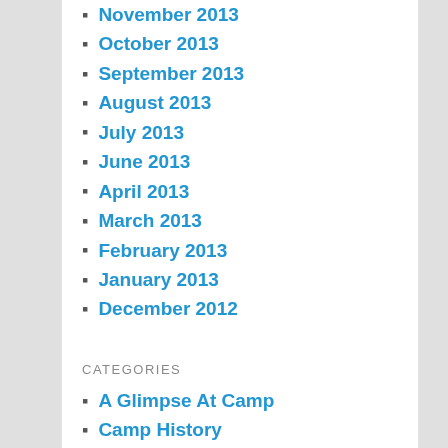November 2013
October 2013
September 2013
August 2013
July 2013
June 2013
April 2013
March 2013
February 2013
January 2013
December 2012
CATEGORIES
A Glimpse At Camp
Camp History
Camp Improvements
Camper Art
Interviews
Moments
News
Pictures